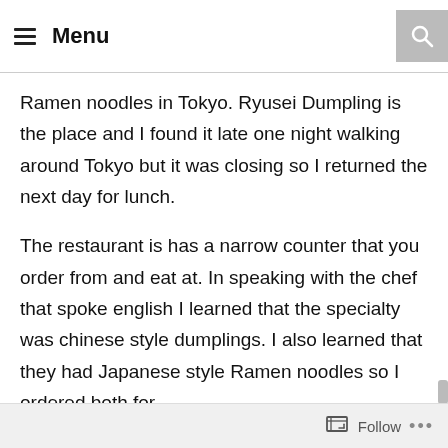Menu
Ramen noodles in Tokyo. Ryusei Dumpling is the place and I found it late one night walking around Tokyo but it was closing so I returned the next day for lunch.
The restaurant is has a narrow counter that you order from and eat at. In speaking with the chef that spoke english I learned that the specialty was chinese style dumplings. I also learned that they had Japanese style Ramen noodles so I ordered both for
Follow ...